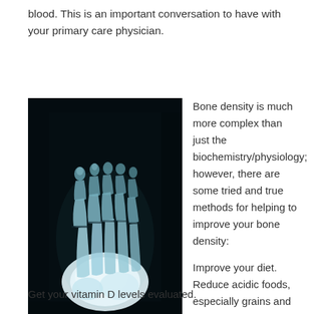blood. This is an important conversation to have with your primary care physician.
[Figure (photo): X-ray image of a human foot showing bones of the toes, metatarsals, and ankle in white/light blue against a dark background.]
Bone density is much more complex than just the biochemistry/physiology; however, there are some tried and true methods for helping to improve your bone density:
Improve your diet. Reduce acidic foods, especially grains and sugars. Consume more green leafy vegetables.
Get your vitamin D levels evaluated.